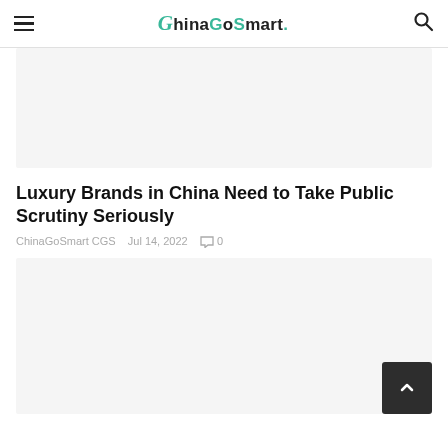ChinaGoSmart.
[Figure (photo): Top article image placeholder (light gray background)]
Luxury Brands in China Need to Take Public Scrutiny Seriously
ChinaGoSmart CGS  Jul 14, 2022  🗨 0
[Figure (photo): Bottom article image placeholder (light gray background)]